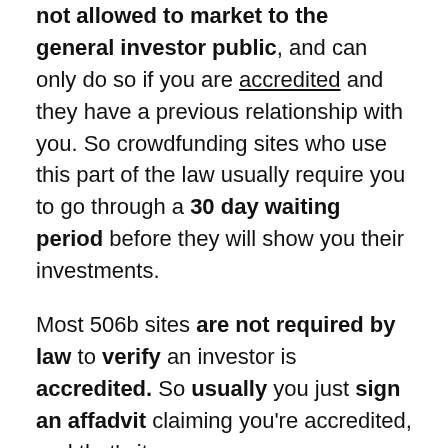not allowed to market to the general investor public, and can only do so if you are accredited and they have a previous relationship with you. So crowdfunding sites who use this part of the law usually require you to go through a 30 day waiting period before they will show you their investments.
Most 506b sites are not required by law to verify an investor is accredited. So usually you just sign an affadvit claiming you're accredited, and that's it.
(This is the part of the law that old school syndications also use to function under).
506c: